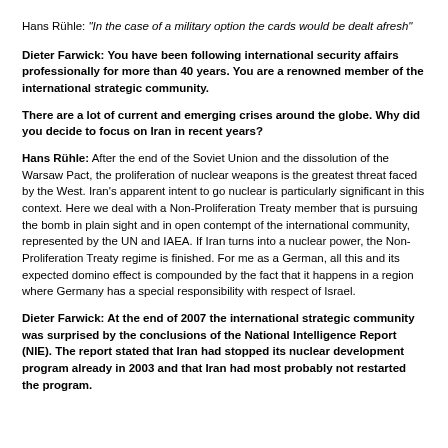Hans Rühle: "In the case of a military option the cards would be dealt afresh"
Dieter Farwick: You have been following international security affairs professionally for more than 40 years. You are a renowned member of the international strategic community.
There are a lot of current and emerging crises around the globe. Why did you decide to focus on Iran in recent years?
Hans Rühle: After the end of the Soviet Union and the dissolution of the Warsaw Pact, the proliferation of nuclear weapons is the greatest threat faced by the West. Iran's apparent intent to go nuclear is particularly significant in this context. Here we deal with a Non-Proliferation Treaty member that is pursuing the bomb in plain sight and in open contempt of the international community, represented by the UN and IAEA. If Iran turns into a nuclear power, the Non-Proliferation Treaty regime is finished. For me as a German, all this and its expected domino effect is compounded by the fact that it happens in a region where Germany has a special responsibility with respect of Israel.
Dieter Farwick: At the end of 2007 the international strategic community was surprised by the conclusions of the National Intelligence Report (NIE). The report stated that Iran had stopped its nuclear development program already in 2003 and that Iran had most probably not restarted the program.